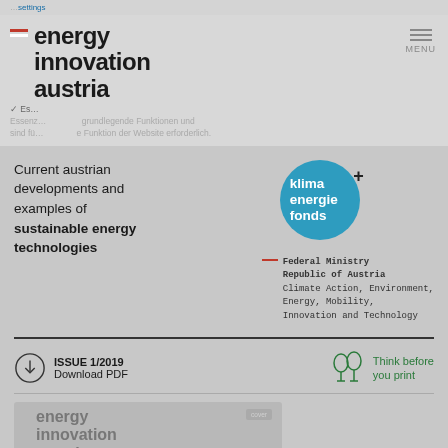energy innovation austria — website header with navigation
energy innovation austria
Current austrian developments and examples of sustainable energy technologies
[Figure (logo): klima+ energie fonds circular blue logo]
Federal Ministry Republic of Austria Climate Action, Environment, Energy, Mobility, Innovation and Technology
ISSUE 1/2019 Download PDF
Think before you print
[Figure (screenshot): Thumbnail of energy innovation austria document cover]